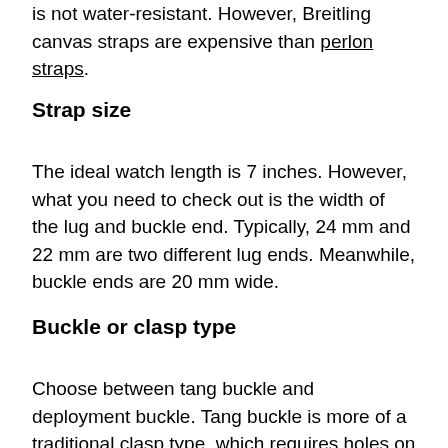is not water-resistant. However, Breitling canvas straps are expensive than perlon straps.
Strap size
The ideal watch length is 7 inches. However, what you need to check out is the width of the lug and buckle end. Typically, 24 mm and 22 mm are two different lug ends. Meanwhile, buckle ends are 20 mm wide.
Buckle or clasp type
Choose between tang buckle and deployment buckle. Tang buckle is more of a traditional clasp type, which requires holes on the strap. However